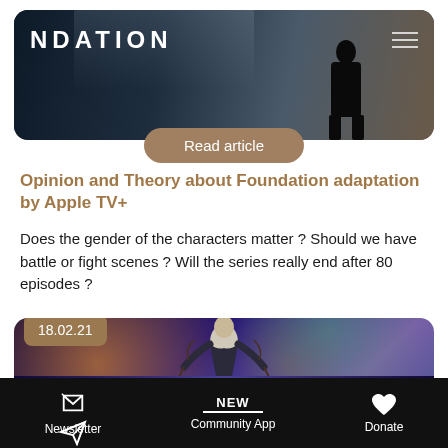[Figure (illustration): Top banner image showing the Foundation TV series with a silhouette figure and the text NDATION (partial logo) on a dark cinematic background with horizontal menu lines]
Read article
Opinion and Theory about Foundation adaptation by Apple TV+
Does the gender of the characters matter ? Should we have battle or fight scenes ? Will the series really end after 80 episodes ?
[Figure (illustration): Second card with date badge 18.02.21, showing sci-fi artwork of a person in a space setting with planets and tendrils/wires around them, cosmic background]
Newsletter   NEW Community App   Donate